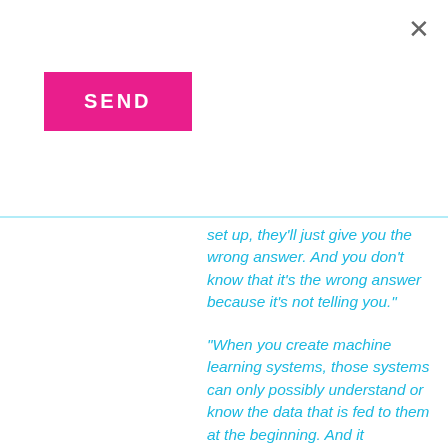[Figure (other): Close (X) button in top right corner]
[Figure (other): Pink SEND button]
set up, they'll just give you the wrong answer. And you don't know that it's the wrong answer because it's not telling you."
"When you create machine learning systems, those systems can only possibly understand or know the data that is fed to them at the beginning. And it